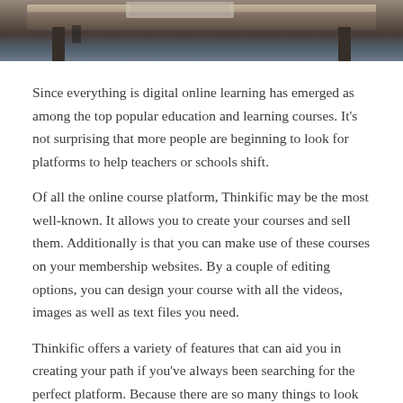[Figure (photo): Top portion of a photo showing a desk with metal legs and a dark surface, likely a study or office setting]
Since everything is digital online learning has emerged as among the top popular education and learning courses. It's not surprising that more people are beginning to look for platforms to help teachers or schools shift.
Of all the online course platform, Thinkific may be the most well-known. It allows you to create your courses and sell them. Additionally is that you can make use of these courses on your membership websites. By a couple of editing options, you can design your course with all the videos, images as well as text files you need.
Thinkific offers a variety of features that can aid you in creating your path if you've always been searching for the perfect platform. Because there are so many things to look into We wrote this post to help you understand its strengths, drawbacks and